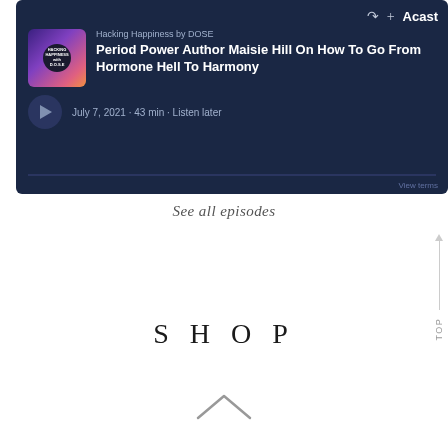[Figure (screenshot): Acast podcast player card for 'Hacking Happiness by DOSE' showing episode 'Period Power Author Maisie Hill On How To Go From Hormone Hell To Harmony', dated July 7, 2021, 43 min, with Listen later option, on dark navy background with play button and progress bar.]
See all episodes
SHOP